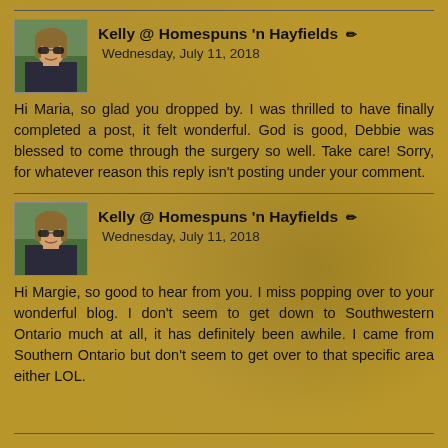Kelly @ Homespuns 'n Hayfields ✏ Wednesday, July 11, 2018
Hi Maria, so glad you dropped by. I was thrilled to have finally completed a post, it felt wonderful. God is good, Debbie was blessed to come through the surgery so well. Take care! Sorry, for whatever reason this reply isn't posting under your comment.
Kelly @ Homespuns 'n Hayfields ✏ Wednesday, July 11, 2018
Hi Margie, so good to hear from you. I miss popping over to your wonderful blog. I don't seem to get down to Southwestern Ontario much at all, it has definitely been awhile. I came from Southern Ontario but don't seem to get over to that specific area either LOL.